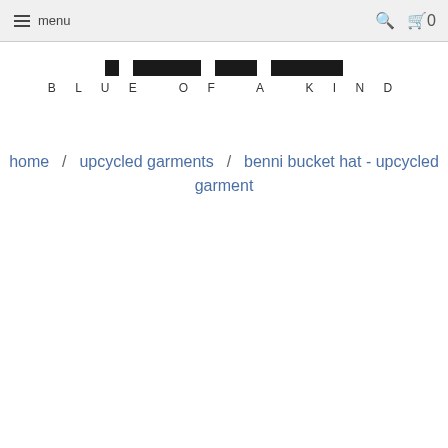≡ menu  🔍  🛒 0
[Figure (logo): Blue of a Kind logo with four black rectangular blocks above the text 'BLUE OF A KIND' in spaced capitals]
home / upcycled garments / benni bucket hat - upcycled garment